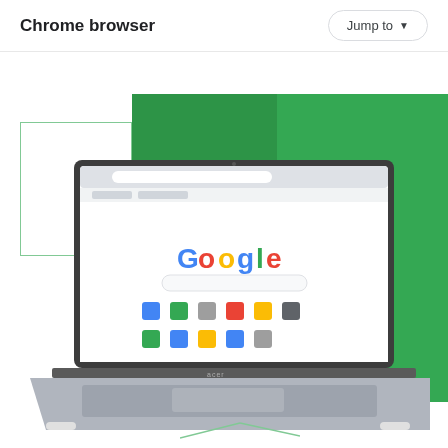Chrome browser
[Figure (screenshot): Acer Chromebook laptop open at an angle showing the Google Chrome browser homepage on screen, with a green geometric background behind it and a green outlined box to the left. The laptop is silver/grey and shows the Google search page with colorful app icons.]